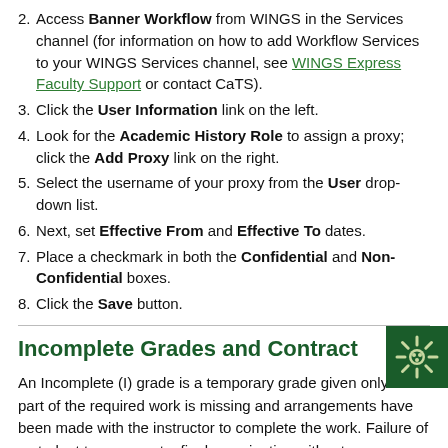2. Access Banner Workflow from WINGS in the Services channel (for information on how to add Workflow Services to your WINGS Services channel, see WINGS Express Faculty Support or contact CaTS).
3. Click the User Information link on the left.
4. Look for the Academic History Role to assign a proxy; click the Add Proxy link on the right.
5. Select the username of your proxy from the User drop-down list.
6. Next, set Effective From and Effective To dates.
7. Place a checkmark in both the Confidential and Non-Confidential boxes.
8. Click the Save button.
Incomplete Grades and Contract
An Incomplete (I) grade is a temporary grade given only when part of the required work is missing and arrangements have been made with the instructor to complete the work. Failure of a student to appear at a final examination without an explanation is, for example, insufficient grounds for assigning an incomplete. In such cases, an 'X' grade would be appropriate. In general, the grade of 'I' should be avoided except where it is clearly justified.